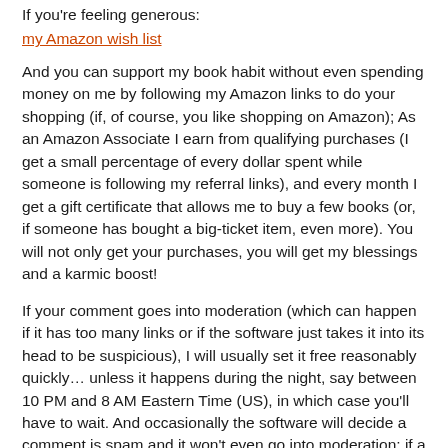If you're feeling generous:
my Amazon wish list
And you can support my book habit without even spending money on me by following my Amazon links to do your shopping (if, of course, you like shopping on Amazon); As an Amazon Associate I earn from qualifying purchases (I get a small percentage of every dollar spent while someone is following my referral links), and every month I get a gift certificate that allows me to buy a few books (or, if someone has bought a big-ticket item, even more). You will not only get your purchases, you will get my blessings and a karmic boost!
If your comment goes into moderation (which can happen if it has too many links or if the software just takes it into its head to be suspicious), I will usually set it free reasonably quickly… unless it happens during the night, say between 10 PM and 8 AM Eastern Time (US), in which case you'll have to wait. And occasionally the software will decide a comment is spam and it won't even go into moderation; if a comment disappears on you, send me an e-mail and I'll try to rescue it. You have my apologies in advance. Also, my posts should be taken as conversation-